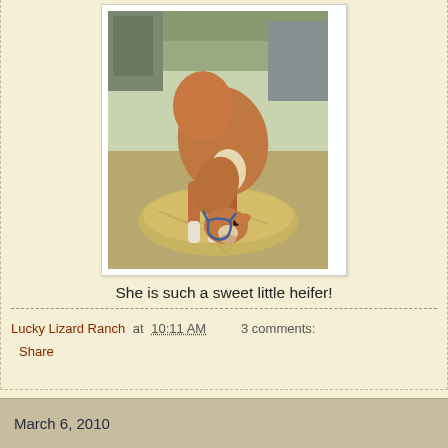[Figure (photo): A brown and white young heifer (calf) wearing a blue halter, eating hay from a pile on the ground outdoors. A barn structure and trees are visible in the background.]
She is such a sweet little heifer!
Lucky Lizard Ranch at 10:11 AM   3 comments:
Share
March 6, 2010